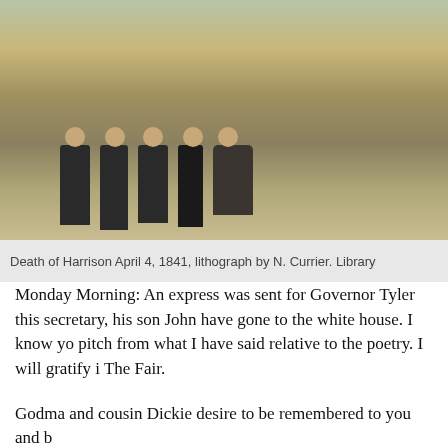[Figure (photo): Lithograph titled 'Death of Harrison April 4, 1841' by N. Currier, showing several figures gathered around a deathbed scene. Historical lithograph with caption text at the bottom reading 'DEATH OF HARRISON APRIL'.]
Death of Harrison April 4, 1841, lithograph by N. Currier. Library
Monday Morning: An express was sent for Governor Tyler this secretary, his son John have gone to the white house. I know yo pitch from what I have said relative to the poetry. I will gratify i The Fair.
Godma and cousin Dickie desire to be remembered to you and b
Eliza
[The following in Dickie Galt's hand]
Monday Apr 5th 1841